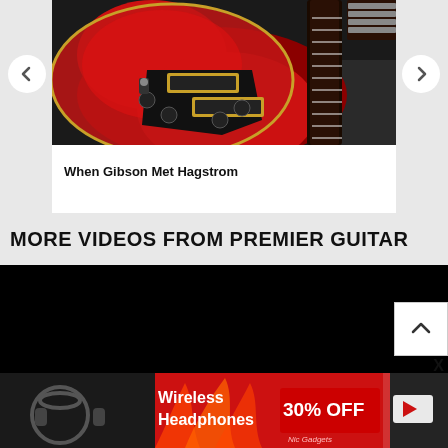[Figure (photo): Red Gibson Les Paul electric guitar in black case, showing body with gold pickups and black knobs, with fretboard visible at right]
When Gibson Met Hagstrom
MORE VIDEOS FROM PREMIER GUITAR
[Figure (screenshot): Dark/black video player area for Premier Guitar video content]
[Figure (photo): Advertisement banner: Wireless Headphones 30% OFF - Nic Gadgets ad with headphones image and flame graphics]